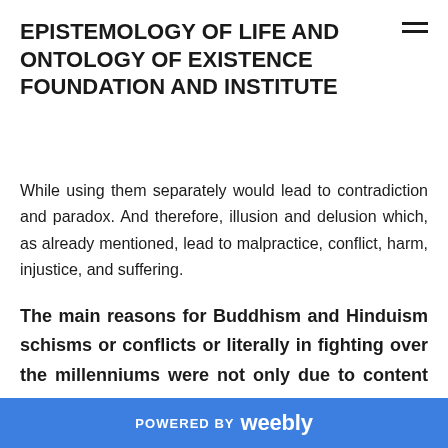EPISTEMOLOGY OF LIFE AND ONTOLOGY OF EXISTENCE FOUNDATION AND INSTITUTE
While using them separately would lead to contradiction and paradox. And therefore, illusion and delusion which, as already mentioned, lead to malpractice, conflict, harm, injustice, and suffering.
The main reasons for Buddhism and Hinduism schisms or conflicts or literally in fighting over the millenniums were not only due to content and context pluralism or life and existence experience; rather also due to identification
POWERED BY weebly